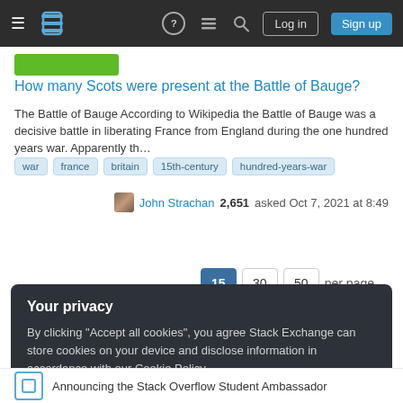Stack Exchange navigation bar with Log in and Sign up buttons
How many Scots were present at the Battle of Bauge?
The Battle of Bauge According to Wikipedia the Battle of Bauge was a decisive battle in liberating France from England during the one hundred years war. Apparently th...
war
france
britain
15th-century
hundred-years-war
John Strachan 2,651 asked Oct 7, 2021 at 8:49
15  30  50  per page
Your privacy
By clicking "Accept all cookies", you agree Stack Exchange can store cookies on your device and disclose information in accordance with our Cookie Policy.
Accept all cookies  Customize settings
Announcing the Stack Overflow Student Ambassador